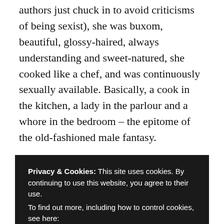authors just chuck in to avoid criticisms of being sexist), she was buxom, beautiful, glossy-haired, always understanding and sweet-natured, she cooked like a chef, and was continuously sexually available. Basically, a cook in the kitchen, a lady in the parlour and a whore in the bedroom – the epitome of the old-fashioned male fantasy.
I mean, she just never said no, was never too tired, or had a headache or some other need of her own that she would prioritize before said cop's carnal cravings. He would look at
Privacy & Cookies: This site uses cookies. By continuing to use this website, you agree to their use.
To find out more, including how to control cookies, see here:
Cookie Policy

Close and accept
female readers. I got no response – LOL! – but at least I